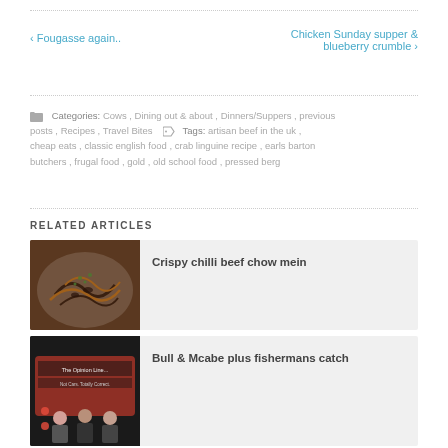‹ Fougasse again..
Chicken Sunday supper & blueberry crumble ›
Categories: Cows , Dining out & about , Dinners/Suppers , previous posts , Recipes , Travel Bites   Tags: artisan beef in the uk , cheap eats , classic english food , crab linguine recipe , earls barton butchers , frugal food , gold , old school food , pressed berg
RELATED ARTICLES
Crispy chilli beef chow mein
[Figure (photo): Bowl of crispy chilli beef chow mein noodles]
Bull & Mcabe plus fishermans catch
[Figure (photo): Group of people outside The Opinion Line bus/van]